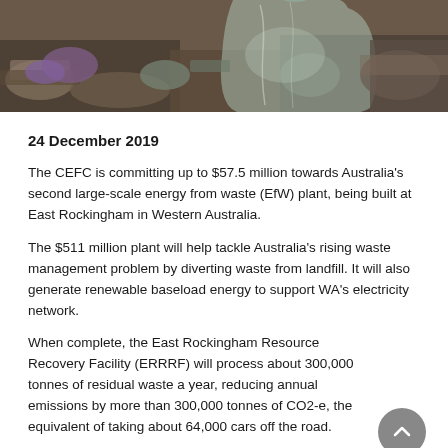[Figure (photo): Photo of garbage bags and waste, showing a translucent plastic bag full of rubbish against a cluttered background of mixed waste materials.]
24 December 2019
The CEFC is committing up to $57.5 million towards Australia's second large-scale energy from waste (EfW) plant, being built at East Rockingham in Western Australia.
The $511 million plant will help tackle Australia's rising waste management problem by diverting waste from landfill. It will also generate renewable baseload energy to support WA's electricity network.
When complete, the East Rockingham Resource Recovery Facility (ERRRF) will process about 300,000 tonnes of residual waste a year, reducing annual emissions by more than 300,000 tonnes of CO2-e, the equivalent of taking about 64,000 cars off the road.